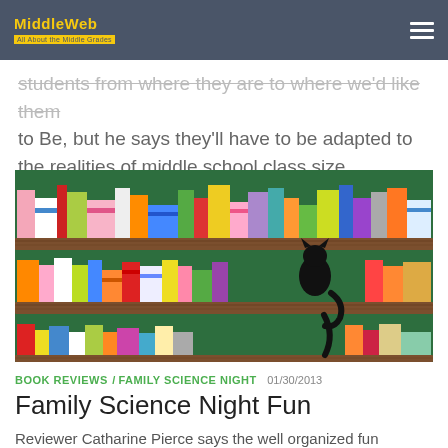MiddleWeb
students from where they are to where we'd like them to Be, but he says they'll have to be adapted to the realities of middle school class size.
[Figure (illustration): Colorful cartoon illustration of bookshelves filled with books of various colors and sizes, with a black cat silhouette sitting on the middle shelf.]
BOOK REVIEWS / FAMILY SCIENCE NIGHT  01/30/2013
Family Science Night Fun
Reviewer Catharine Pierce says the well organized fun